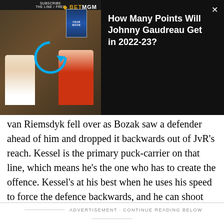[Figure (screenshot): Video player overlay showing two people at a desk in a sports studio setting with BetMGM branding, a yearbook graphic, and a circular arrow graphic. Close button (×) in top right.]
How Many Points Will Johnny Gaudreau Get in 2022-23?
van Riemsdyk fell over as Bozak saw a defender ahead of him and dropped it backwards out of JvR's reach. Kessel is the primary puck-carrier on that line, which means he's the one who has to create the offence. Kessel's at his best when he uses his speed to force the defence backwards, and he can shoot well from the circles to create chaos in front, but Bozak only went to the net a couple of times, registering a pair of chances (one set up from Kessel). van Riemsdyk had been very involved in the offence until this game.
ADVERTISEMENT · CONTINUE READING BELOW